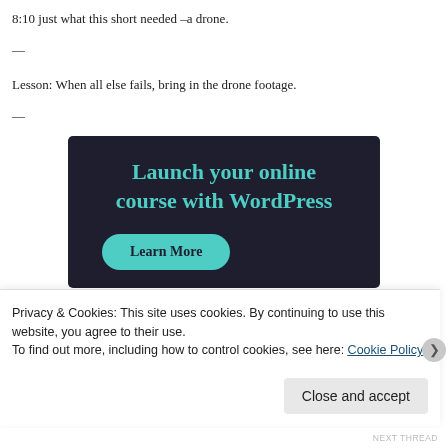8:10 just what this short needed –a drone.
—
Lesson: When all else fails, bring in the drone footage.
—
[Figure (infographic): Dark navy advertisement block with teal text reading 'Launch your online course with WordPress' and a teal rounded 'Learn More' button.]
Privacy & Cookies: This site uses cookies. By continuing to use this website, you agree to their use.
To find out more, including how to control cookies, see here: Cookie Policy
Close and accept